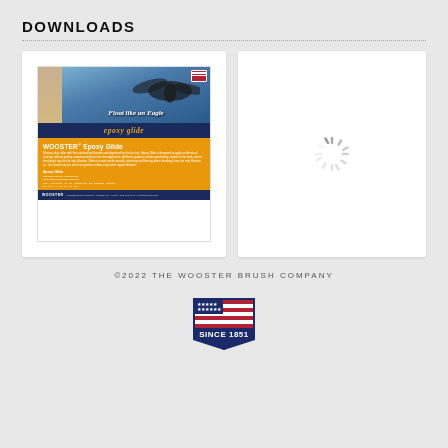DOWNLOADS
[Figure (illustration): Wooster Epoxy Glide product sell sheet thumbnail showing an eagle, roller product packaging, and product specification table on an orange and blue background]
[Figure (other): Loading spinner icon (animated loading indicator), white rectangle card with spinning loader symbol]
©2022 THE WOOSTER BRUSH COMPANY
[Figure (logo): Wooster Brush Company logo: American flag shield shape with 'SINCE 1851' text on navy banner]